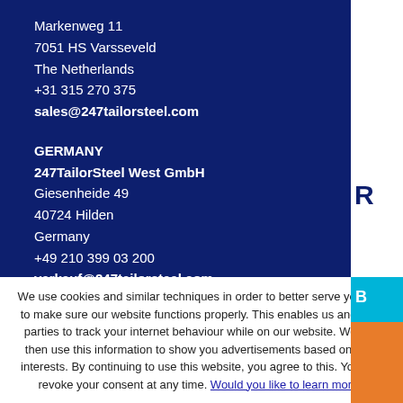Markenweg 11
7051 HS Varsseveld
The Netherlands
+31 315 270 375
sales@247tailorsteel.com
GERMANY
247TailorSteel West GmbH
Giesenheide 49
40724 Hilden
Germany
+49 210 399 03 200
verkauf@247tailorsteel.com
We use cookies and similar techniques in order to better serve you and to make sure our website functions properly. This enables us and third parties to track your internet behaviour while on our website. We can then use this information to show you advertisements based on your interests. By continuing to use this website, you agree to this. You can revoke your consent at any time. Would you like to learn more?